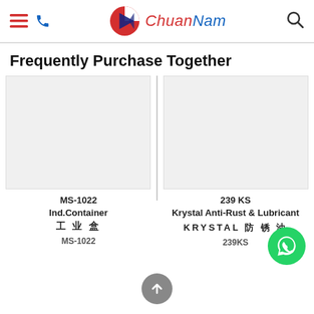ChuanNam logo and navigation header
Frequently Purchase Together
[Figure (photo): Product image placeholder for MS-1022 Ind.Container (gray/white rectangle)]
MS-1022
Ind.Container
工 业 盒
MS-1022
[Figure (photo): Product image placeholder for 239 KS Krystal Anti-Rust & Lubricant (gray/white rectangle)]
239 KS
Krystal Anti-Rust & Lubricant
KRYSTAL 防 锈 油
239KS